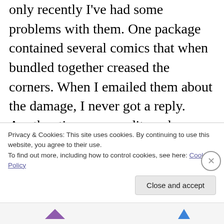only recently I've had some problems with them. One package contained several comics that when bundled together creased the corners. When I emailed them about the damage, I never got a reply. Another time, my credit card was billed twice for the same order. When I called them about it, they said they could not do anything and that I had to dispute it with my card company. And now it seems like they have done away with the free shipping option. I put together an order totalling over $100 and had to pay for
Privacy & Cookies: This site uses cookies. By continuing to use this website, you agree to their use.
To find out more, including how to control cookies, see here: Cookie Policy
Close and accept